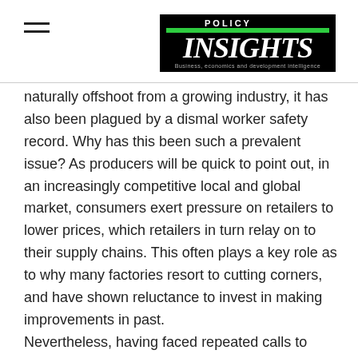Policy Insights
naturally offshoot from a growing industry, it has also been plagued by a dismal worker safety record. Why has this been such a prevalent issue? As producers will be quick to point out, in an increasingly competitive local and global market, consumers exert pressure on retailers to lower prices, which retailers in turn relay on to their supply chains. This often plays a key role as to why many factories resort to cutting corners, and have shown reluctance to invest in making improvements in past.
Nevertheless, having faced repeated calls to strengthen factory safety, security, and work-environment over the last few years, coupled with the